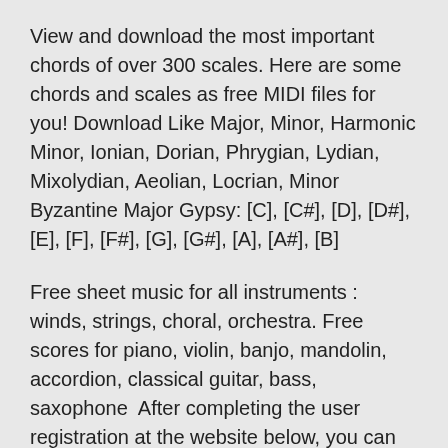View and download the most important chords of over 300 scales. Here are some chords and scales as free MIDI files for you! Download Like Major, Minor, Harmonic Minor, Ionian, Dorian, Phrygian, Lydian, Mixolydian, Aeolian, Locrian, Minor Byzantine Major Gypsy: [C], [C#], [D], [D#], [E], [F], [F#], [G], [G#], [A], [A#], [B]
Free sheet music for all instruments : winds, strings, choral, orchestra. Free scores for piano, violin, banjo, mandolin, accordion, classical guitar, bass, saxophone  After completing the user registration at the website below, you can download this The Yamaha XF format enhances the SMF (Standard MIDI File) standard with greater Try Playing a Variety of Instrument Voices. DGX-660 Owner's Manual. 30 Chords. Major. Minor. Seventh. Minor Seventh. Major Seventh. C. Cm. 7. C.